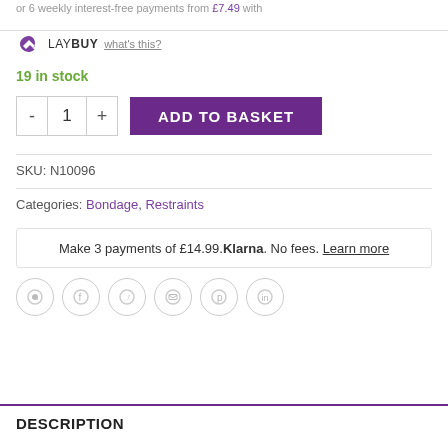or 6 weekly interest-free payments from £7.49 with
LAYBUY what's this?
19 in stock
- 1 + ADD TO BASKET
SKU: N10096
Categories: Bondage, Restraints
Make 3 payments of £14.99. Klarna. No fees. Learn more
Share icons: WhatsApp, Facebook, Twitter, Email, Pinterest, LinkedIn
DESCRIPTION